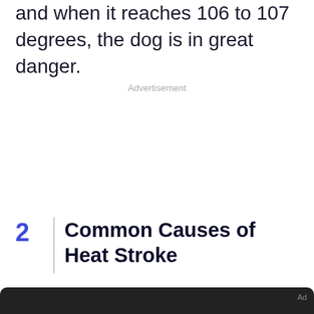and when it reaches 106 to 107 degrees, the dog is in great danger.
Advertisement
2 Common Causes of Heat Stroke